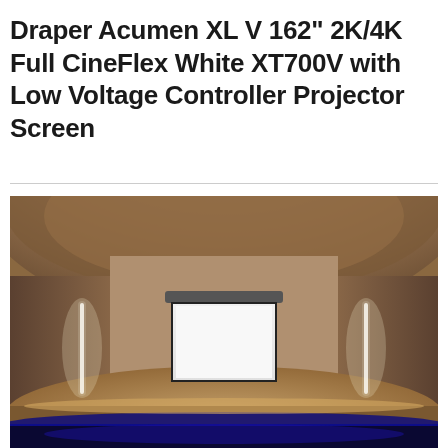Draper Acumen XL V 162" 2K/4K Full CineFlex White XT700V with Low Voltage Controller Projector Screen
[Figure (photo): Interior view of a home theater or auditorium room showing a large motorized projector screen deployed from a ceiling-mounted housing. The screen is white with a dark border/frame, mounted at the front of a curved stage. Two vertical LED light strips illuminate the side walls. The ceiling has a curved architectural soffit. The room has a warm beige/brown color scheme with blue accent lighting at the base of the stage.]